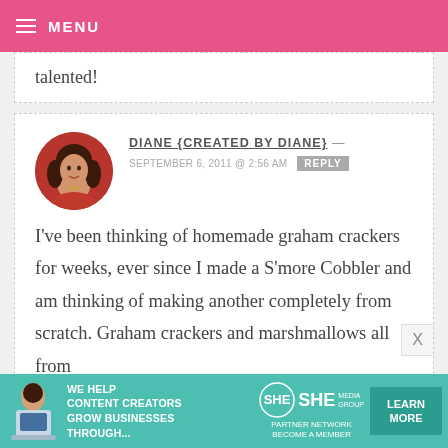MENU
talented!
DIANE {CREATED BY DIANE} —
SEPTEMBER 6, 2011 @ 2:56 AM  REPLY
I've been thinking of homemade graham crackers for weeks, ever since I made a S'more Cobbler and am thinking of making another completely from scratch. Graham crackers and marshmallows all from
[Figure (photo): Advertisement banner: SHE Partner Network - We help content creators grow businesses through...]
WE HELP CONTENT CREATORS GROW BUSINESSES THROUGH... SHE PARTNER NETWORK BECOME A MEMBER LEARN MORE